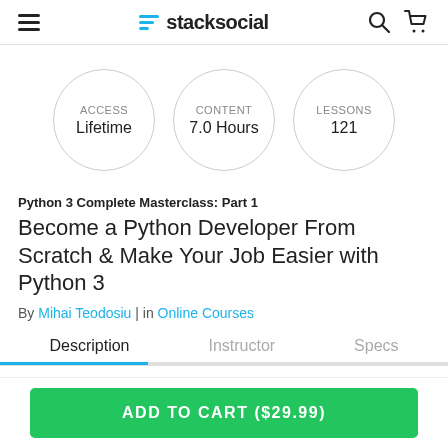stacksocial
[Figure (infographic): Three circles showing course stats: ACCESS Lifetime, CONTENT 7.0 Hours, LESSONS 121]
Python 3 Complete Masterclass: Part 1
Become a Python Developer From Scratch & Make Your Job Easier with Python 3
By Mihai Teodosiu | in Online Courses
Description | Instructor | Specs
ADD TO CART ($29.99)